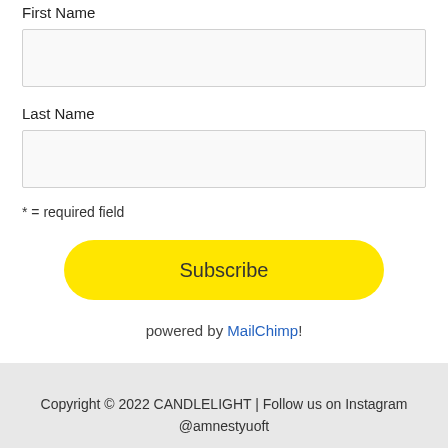First Name
Last Name
* = required field
Subscribe
powered by MailChimp!
Copyright © 2022 CANDLELIGHT | Follow us on Instagram @amnestyuoft